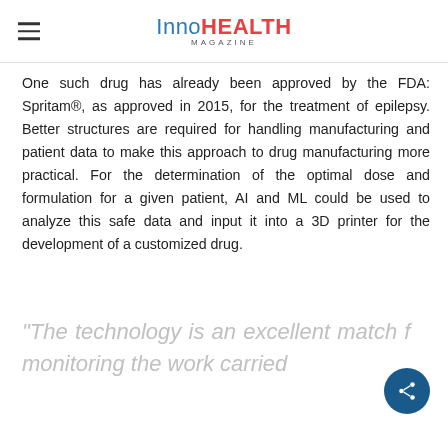InnoHEALTH MAGAZINE
One such drug has already been approved by the FDA: Spritam®, as approved in 2015, for the treatment of epilepsy. Better structures are required for handling manufacturing and patient data to make this approach to drug manufacturing more practical. For the determination of the optimal dose and formulation for a given patient, AI and ML could be used to analyze this safe data and input it into a 3D printer for the development of a customized drug.
“The technology is an excellent match f… monitoring the work carried